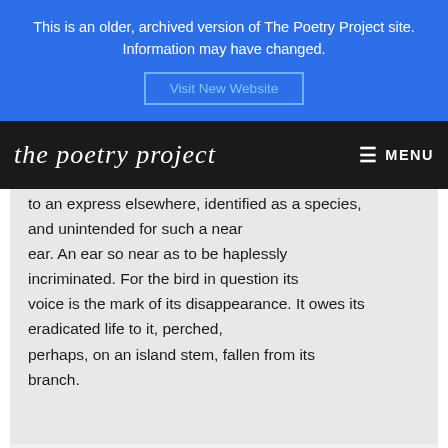This is an older, archived version of The Poetry Project site. Information may have changed.
Visit New Website
the poetry project  MENU
to an express elsewhere, identified as a species, and unintended for such a near ear. An ear so near as to be haplessly incriminated. For the bird in question its voice is the mark of its disappearance. It owes its eradicated life to it, perched, perhaps, on an island stem, fallen from its branch.